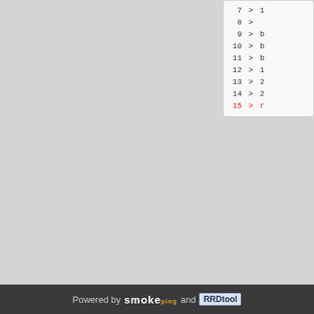[Figure (screenshot): Top right code/traceroute box showing lines 7-15, with line 15 highlighted in red]
[Figure (screenshot): Bottom right code/traceroute box showing lines 3-15, with line 15 highlighted in red]
Powered by smokeping and RRDtool